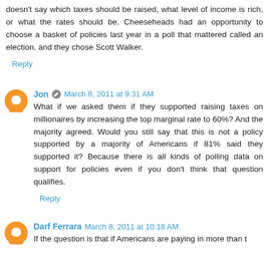doesn't say which taxes should be raised, what level of income is rich, or what the rates should be. Cheeseheads had an opportunity to choose a basket of policies last year in a poll that mattered called an election, and they chose Scott Walker.
Reply
Jon  March 8, 2011 at 9:31 AM
What if we asked them if they supported raising taxes on millionaires by increasing the top marginal rate to 60%? And the majority agreed. Would you still say that this is not a policy supported by a majority of Americans if 81% said they supported it? Because there is all kinds of polling data on support for policies even if you don't think that question qualifies.
Reply
Darf Ferrara  March 8, 2011 at 10:18 AM
If the question is that if Americans are paying in more than t